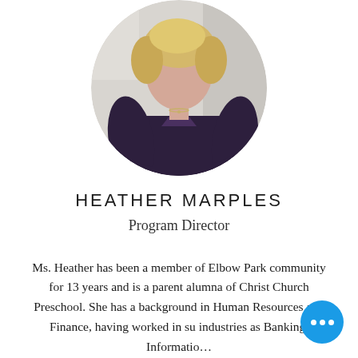[Figure (photo): Circular cropped photo of Heather Marples, a woman with blonde hair wearing a dark navy/purple long-sleeve top, photographed from approximately chest up.]
HEATHER MARPLES
Program Director
Ms. Heather has been a member of Elbow Park community for 13 years and is a parent alumna of Christ Church Preschool. She has a background in Human Resources and Finance, having worked in su... industries as Banking, Informatio...